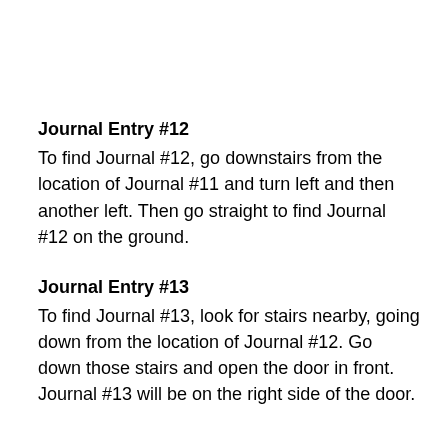Journal Entry #12
To find Journal #12, go downstairs from the location of Journal #11 and turn left and then another left. Then go straight to find Journal #12 on the ground.
Journal Entry #13
To find Journal #13, look for stairs nearby, going down from the location of Journal #12. Go down those stairs and open the door in front. Journal #13 will be on the right side of the door.